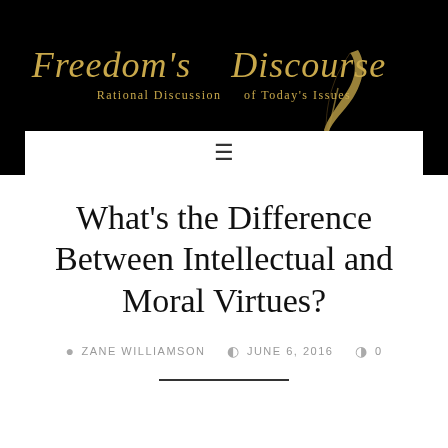Freedom's Discourse – Rational Discussion of Today's Issues
What's the Difference Between Intellectual and Moral Virtues?
ZANE WILLIAMSON   JUNE 6, 2016   0